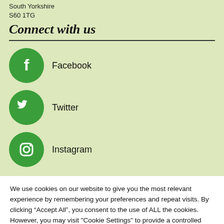South Yorkshire
S60 1TG
Connect with us
Facebook
Twitter
Instagram
We use cookies on our website to give you the most relevant experience by remembering your preferences and repeat visits. By clicking “Accept All”, you consent to the use of ALL the cookies. However, you may visit "Cookie Settings" to provide a controlled consent.